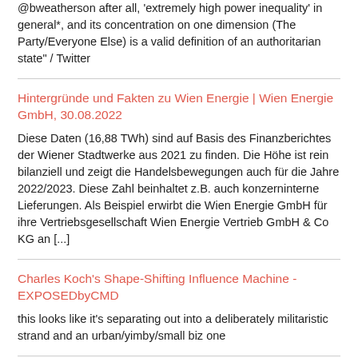@bweatherson after all, 'extremely high power inequality' in general*, and its concentration on one dimension (The Party/Everyone Else) is a valid definition of an authoritarian state" / Twitter
Hintergründe und Fakten zu Wien Energie | Wien Energie GmbH, 30.08.2022
Diese Daten (16,88 TWh) sind auf Basis des Finanzberichtes der Wiener Stadtwerke aus 2021 zu finden. Die Höhe ist rein bilanziell und zeigt die Handelsbewegungen auch für die Jahre 2022/2023. Diese Zahl beinhaltet z.B. auch konzerninterne Lieferungen. Als Beispiel erwirbt die Wien Energie GmbH für ihre Vertriebsgesellschaft Wien Energie Vertrieb GmbH & Co KG an [...]
Charles Koch's Shape-Shifting Influence Machine - EXPOSEDbyCMD
this looks like it's separating out into a deliberately militaristic strand and an urban/yimby/small biz one
Spirals of Delusion: How AI Distorts Decision-Making and Makes Dictators More Dangerous